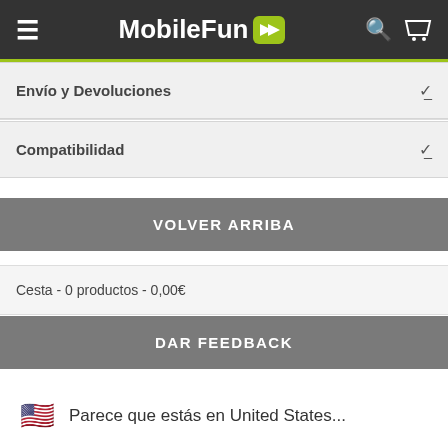MobileFun
Envío y Devoluciones
Compatibilidad
VOLVER ARRIBA
Cesta - 0 productos - 0,00€
DAR FEEDBACK
Parece que estás en United States...
IR AL SITIO WEB
DESCARTAR